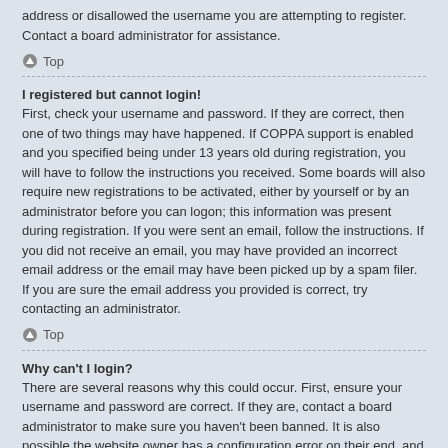address or disallowed the username you are attempting to register. Contact a board administrator for assistance.
↑ Top
I registered but cannot login!
First, check your username and password. If they are correct, then one of two things may have happened. If COPPA support is enabled and you specified being under 13 years old during registration, you will have to follow the instructions you received. Some boards will also require new registrations to be activated, either by yourself or by an administrator before you can logon; this information was present during registration. If you were sent an email, follow the instructions. If you did not receive an email, you may have provided an incorrect email address or the email may have been picked up by a spam filer. If you are sure the email address you provided is correct, try contacting an administrator.
↑ Top
Why can't I login?
There are several reasons why this could occur. First, ensure your username and password are correct. If they are, contact a board administrator to make sure you haven't been banned. It is also possible the website owner has a configuration error on their end, and they would need to fix it.
↑ Top